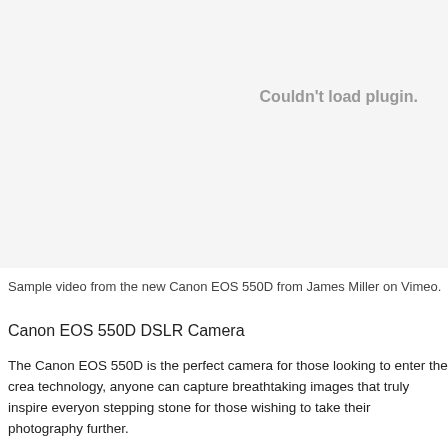[Figure (other): Embedded video plugin area showing 'Couldn't load plugin.' message in grey text on light grey background]
Sample video from the new Canon EOS 550D from James Miller on Vimeo.
Canon EOS 550D DSLR Camera
The Canon EOS 550D is the perfect camera for those looking to enter the crea technology, anyone can capture breathtaking images that truly inspire everyon stepping stone for those wishing to take their photography further.